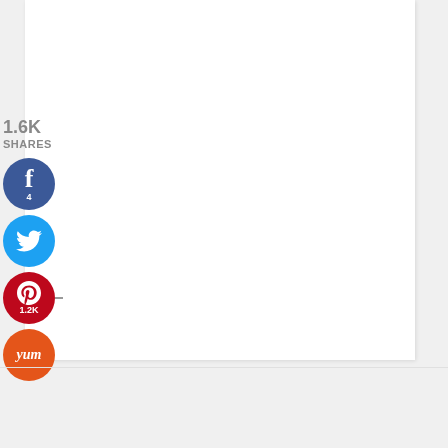1.6K
SHARES
[Figure (infographic): Social media share buttons: Facebook (4 shares), Twitter, Pinterest (1.2K shares), Yummly. Displayed as colored circular buttons with icons stacked vertically on the left side.]